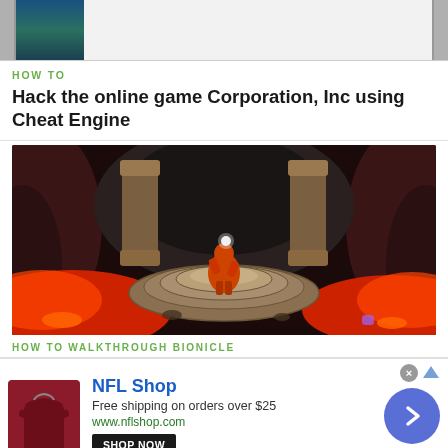[Figure (screenshot): Top strip showing partial screenshot with dark sidebar elements and light content area]
HOW TO
Hack the online game Corporation, Inc using Cheat Engine
[Figure (screenshot): Game screenshot showing Bionicle game with a character on a stone circular platform surrounded by lava and cave walls]
HOW TO WALKTHROUGH BIONICLE
[Figure (screenshot): NFL Shop advertisement banner with dark red jersey image, shop now button, NFL Shop title, free shipping offer, website URL, and blue circle arrow button]